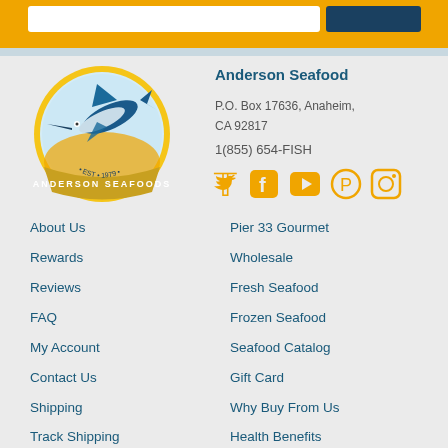[Figure (logo): Anderson Seafoods circular logo with a marlin fish jumping, est. 1979]
Anderson Seafood
P.O. Box 17636, Anaheim, CA 92817
1(855) 654-FISH
[Figure (other): Social media icons: Twitter, Facebook, YouTube, Pinterest, Instagram in orange]
About Us
Rewards
Reviews
FAQ
My Account
Contact Us
Shipping
Track Shipping
Seafood Handling
Quality Guarantee
Pier 33 Gourmet
Wholesale
Fresh Seafood
Frozen Seafood
Seafood Catalog
Gift Card
Why Buy From Us
Health Benefits
Resources
Special Events